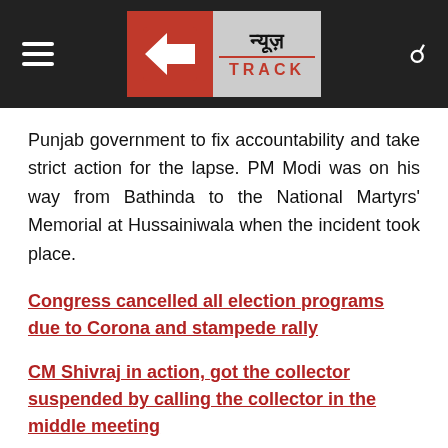न्यूज़ TRACK
Punjab government to fix accountability and take strict action for the lapse. PM Modi was on his way from Bathinda to the National Martyrs' Memorial at Hussainiwala when the incident took place.
Congress cancelled all election programs due to Corona and stampede rally
CM Shivraj in action, got the collector suspended by calling the collector in the middle meeting
Big statement of Deputy Chief Minister Ajit Pawar over 'Lockdown in Maharashtra'